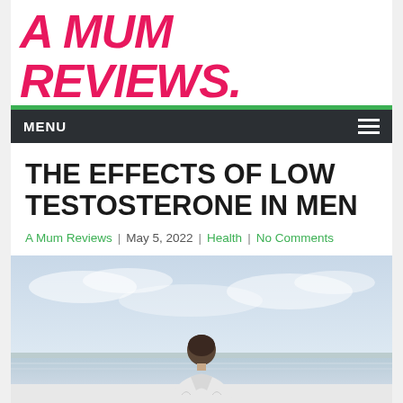A MUM REVIEWS.
MENU
THE EFFECTS OF LOW TESTOSTERONE IN MEN
A Mum Reviews | May 5, 2022 | Health | No Comments
[Figure (photo): Man seen from behind sitting or standing near a lake, wearing a light-colored shirt, with a cloudy sky and water in the background.]